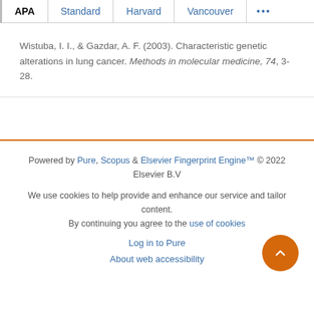APA | Standard | Harvard | Vancouver | ...
Wistuba, I. I., & Gazdar, A. F. (2003). Characteristic genetic alterations in lung cancer. Methods in molecular medicine, 74, 3-28.
Powered by Pure, Scopus & Elsevier Fingerprint Engine™ © 2022 Elsevier B.V
We use cookies to help provide and enhance our service and tailor content. By continuing you agree to the use of cookies
Log in to Pure
About web accessibility